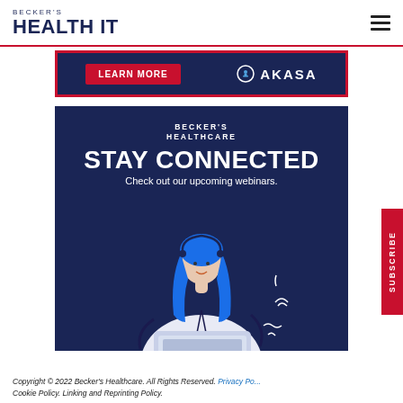BECKER'S HEALTH IT
[Figure (infographic): LEARN MORE button and AKASA logo on dark navy background with red border — advertisement banner]
[Figure (infographic): Becker's Healthcare STAY CONNECTED — Check out our upcoming webinars. Dark navy blue background with illustration of a woman with blue hair working on a laptop.]
Copyright © 2022 Becker's Healthcare. All Rights Reserved. Privacy Policy Cookie Policy. Linking and Reprinting Policy.